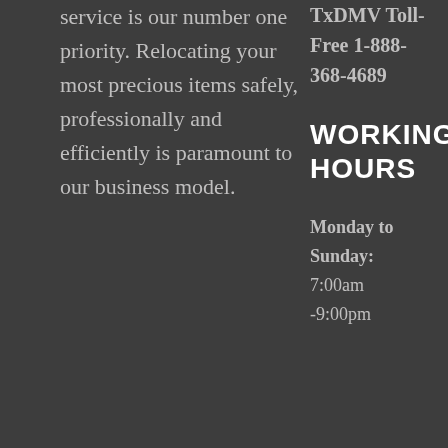service is our number one priority. Relocating your most precious items safely, professionally and efficiently is paramount to our business model.
TxDMV Toll-Free 1-888-368-4689
WORKING HOURS
Monday to Sunday: 7:00am -9:00pm